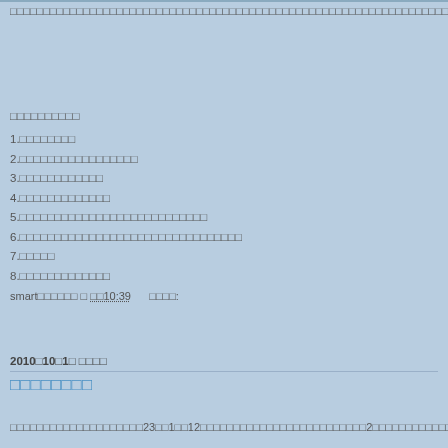□□□□□□□□□□□□□□□□□□□□□□□□□□□□□□□□□□□□□□□□□□□□□□□□□□□□□□□□□□□□□□□□□□□□□□□□□□□□□□□□□□□□□□□□□□□□□□□□□□□□□□□□□□□□□□□□□□□□□□□□□□□□□□□□□□□□□□□□□□□□□□
□□□□□□□□□□
1.□□□□□□□□
2.□□□□□□□□□□□□□□□□□
3.□□□□□□□□□□□□
4.□□□□□□□□□□□□□
5.□□□□□□□□□□□□□□□□□□□□□□□□□□□
6.□□□□□□□□□□□□□□□□□□□□□□□□□□□□□□□□
7.□□□□□
8.□□□□□□□□□□□□□
smart□□□□□□ □ □□10:39      □□□□:
□□
2010□10□1□ □□□□
□□□□□□□□
□□□□□□□□□□□□□□□□□□□□23□□1□□12□□□□□□□□□□□□□□□□□□□□□□□□□2□□□□□□□□□□□□□□□□□□□□□□□□□□□□□□□□□□□□□□□□□□□□□□□□